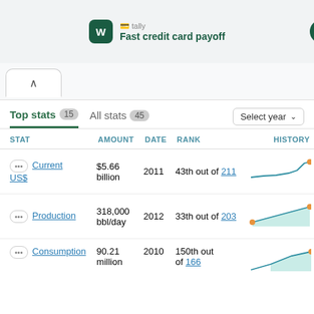[Figure (logo): Tally app logo with text 'Fast credit card payoff']
[Figure (screenshot): Browser tab area with chevron/back button]
Top stats 15   All stats 45
| STAT | AMOUNT | DATE | RANK | HISTORY |
| --- | --- | --- | --- | --- |
| ... Current US$ | $5.66 billion | 2011 | 43th out of 211 | (sparkline) |
| ... Production | 318,000 bbl/day | 2012 | 33th out of 203 | (sparkline) |
| ... Consumption | 90.21 million | 2010 | 150th out of 166 | (sparkline) |